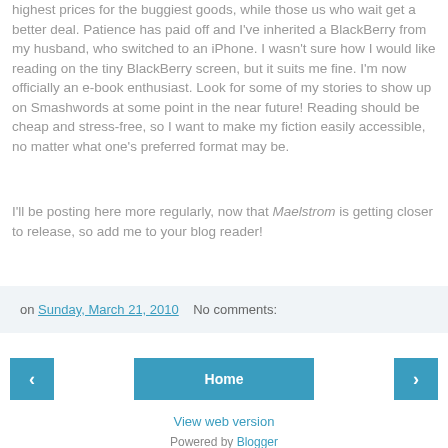highest prices for the buggiest goods, while those us who wait get a better deal. Patience has paid off and I've inherited a BlackBerry from my husband, who switched to an iPhone. I wasn't sure how I would like reading on the tiny BlackBerry screen, but it suits me fine. I'm now officially an e-book enthusiast. Look for some of my stories to show up on Smashwords at some point in the near future! Reading should be cheap and stress-free, so I want to make my fiction easily accessible, no matter what one's preferred format may be.
I'll be posting here more regularly, now that Maelstrom is getting closer to release, so add me to your blog reader!
on Sunday, March 21, 2010   No comments:
‹  Home  ›
View web version
Powered by Blogger